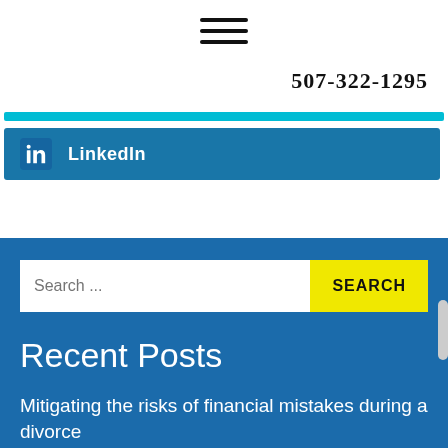[Figure (other): Hamburger menu icon (three horizontal lines)]
507-322-1295
[Figure (other): Cyan horizontal bar divider]
LinkedIn
[Figure (other): Search bar with 'Search ...' placeholder and yellow SEARCH button]
Recent Posts
Mitigating the risks of financial mistakes during a divorce